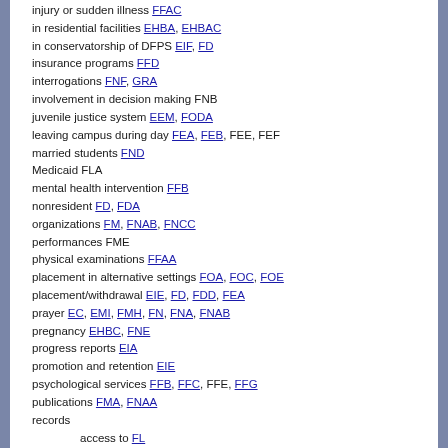injury or sudden illness FFAC
in residential facilities EHBA, EHBAC
in conservatorship of DFPS EIF, FD
insurance programs FFD
interrogations FNF, GRA
involvement in decision making FNB
juvenile justice system EEM, FODA
leaving campus during day FEA, FEB, FEE, FEF
married students FND
Medicaid FLA
mental health intervention FFB
nonresident FD, FDA
organizations FM, FNAB, FNCC
performances FME
physical examinations FFAA
placement in alternative settings FOA, FOC, FOE
placement/withdrawal EIE, FD, FDD, FEA
prayer EC, EMI, FMH, FN, FNA, FNAB
pregnancy EHBC, FNE
progress reports EIA
promotion and retention EIE
psychological services FFB, FFC, FFE, FFG
publications FMA, FNAA
records
access to FL
challenging content of (hearing and appeal) FL
custodian of FL
directory information FL
immunization FFAB